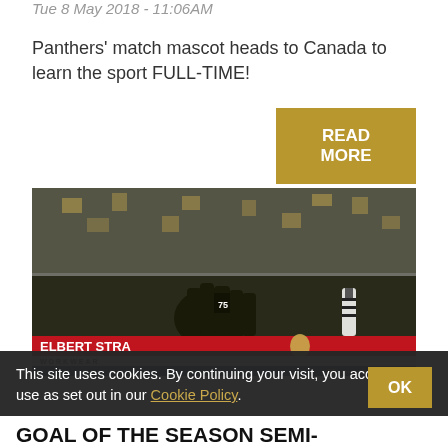Tue 8 May 2018 - 11:06AM
Panthers' match mascot heads to Canada to learn the sport FULL-TIME!
READ MORE
[Figure (photo): Hockey players in black and gold jerseys celebrating on ice rink, crowd in background, rink boards show 'ELBERT STRAN WORKWEAR' in red, LGT PrivatBanking logos on navy boards, referee in background]
This site uses cookies. By continuing your visit, you accept their use as set out in our Cookie Policy. OK
GOAL OF THE SEASON SEMI-